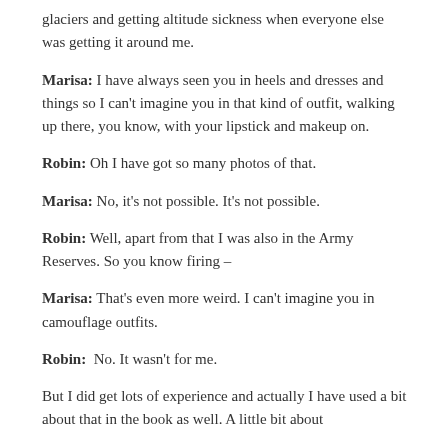glaciers and getting altitude sickness when everyone else was getting it around me.
Marisa: I have always seen you in heels and dresses and things so I can't imagine you in that kind of outfit, walking up there, you know, with your lipstick and makeup on.
Robin: Oh I have got so many photos of that.
Marisa: No, it's not possible. It's not possible.
Robin: Well, apart from that I was also in the Army Reserves. So you know firing –
Marisa: That's even more weird. I can't imagine you in camouflage outfits.
Robin:  No. It wasn't for me.
But I did get lots of experience and actually I have used a bit about that in the book as well. A little bit about